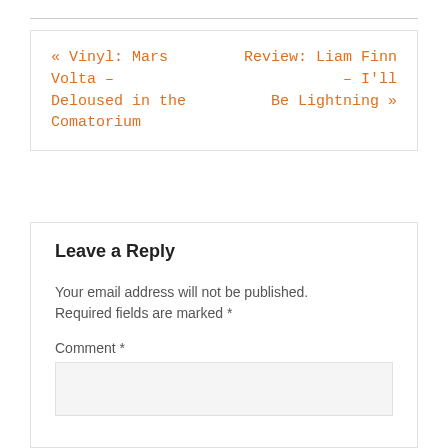« Vinyl: Mars Volta – Deloused in the Comatorium
Review: Liam Finn – I'll Be Lightning »
Leave a Reply
Your email address will not be published. Required fields are marked *
Comment *